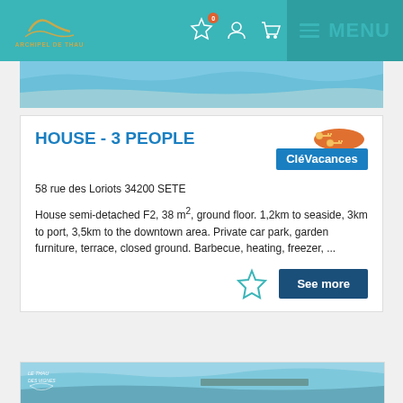ARCHIPEL DE THAU — MENU
[Figure (screenshot): Beach/seaside photo cropped at top of listing card]
HOUSE - 3 PEOPLE
[Figure (logo): CléVacances logo with 2 key icons in orange bubble]
58 rue des Loriots 34200 SETE
House semi-detached F2, 38 m², ground floor. 1,2km to seaside, 3km to port, 3,5km to the downtown area. Private car park, garden furniture, terrace, closed ground. Barbecue, heating, freezer, ...
See more
[Figure (photo): Partial beach/coastal photo at bottom of page showing Le Thau des Vignes area]